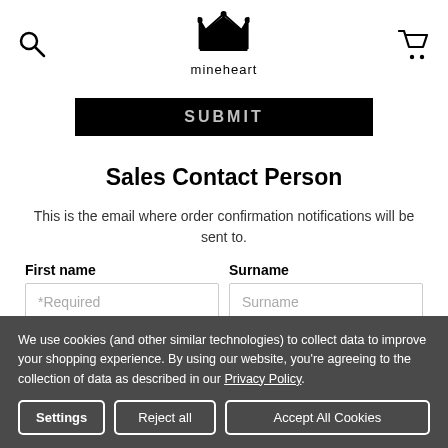mineheart
[Figure (screenshot): Partially visible SUBMIT black button bar]
Sales Contact Person
This is the email where order confirmation notifications will be sent to.
First name *Required  Surname Surname
We use cookies (and other similar technologies) to collect data to improve your shopping experience. By using our website, you're agreeing to the collection of data as described in our Privacy Policy.